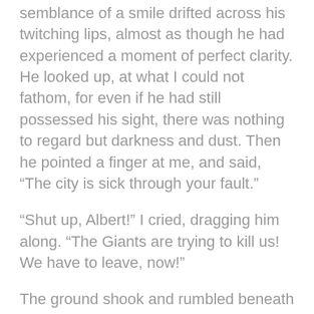semblance of a smile drifted across his twitching lips, almost as though he had experienced a moment of perfect clarity. He looked up, at what I could not fathom, for even if he had still possessed his sight, there was nothing to regard but darkness and dust. Then he pointed a finger at me, and said, “The city is sick through your fault.”
“Shut up, Albert!” I cried, dragging him along. “The Giants are trying to kill us! We have to leave, now!”
The ground shook and rumbled beneath us, and a huge eldritch scream, a volcanic eruption given life and rage, throbbed through the walls. The Giants were trying to break free and bring their battle to the surface once more! That was it; my mind had caved and all reason from me fled. I was convinced of the Ekpyrosis; if they reached the surface, it would be the fate of the world to